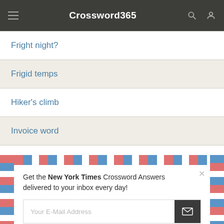Crossword365
Fright night?
Frigid temps
Hiker's climb
Invoice word
It's nothing, really
Get the New York Times Crossword Answers delivered to your inbox every day!
Your E-Mail Address
This website uses cookies to ensure you get the best experience on our website